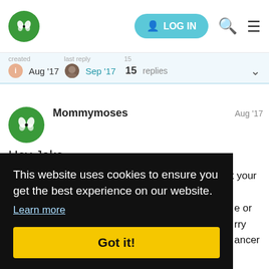LOG IN
created  last reply  15  Aug '17  Sep '17  replies
Mommymoses  Aug '17
Hey Jake
Welcome to the site. First off, I hope and pray that your
This website uses cookies to ensure you get the best experience on our website.
Learn more
Got it!
age 22 completely healed did Daniel Pa...